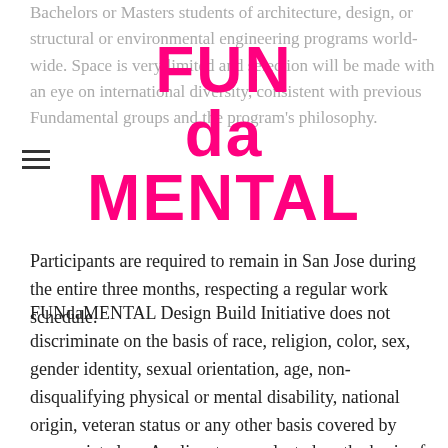[Figure (logo): FUNdaMENTAL logo in bold pink text displayed as page header overlay]
Bachelors or Masters students of architecture, design, or structural or environmental engineering programs world-wide. Space is very limited and selection will be made with an eye on international diversity, consistent with previous Fundamental groups and the program's philosophy.
Participants are required to remain in San Jose during the entire three months, respecting a regular work schedule.
FUNdaMENTAL Design Build Initiative does not discriminate on the basis of race, religion, color, sex, gender identity, sexual orientation, age, non-disqualifying physical or mental disability, national origin, veteran status or any other basis covered by appropriate law. Applicants are selected on the basis of qualifications, merit, and project need.
SUBMISSION REQUIREMENTS
1. Statement of interest and intent (150 words) so that